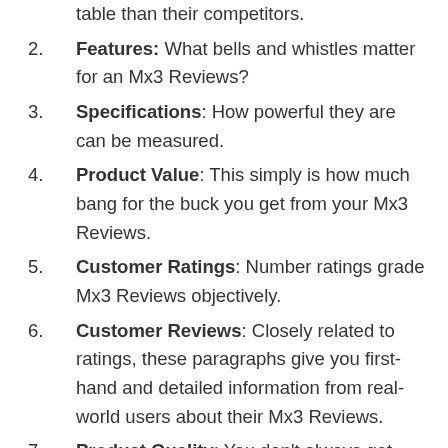table than their competitors.
Features: What bells and whistles matter for an Mx3 Reviews?
Specifications: How powerful they are can be measured.
Product Value: This simply is how much bang for the buck you get from your Mx3 Reviews.
Customer Ratings: Number ratings grade Mx3 Reviews objectively.
Customer Reviews: Closely related to ratings, these paragraphs give you first-hand and detailed information from real-world users about their Mx3 Reviews.
Product Quality: You don’t always get what you pay for with an Mx3 Reviews, sometimes